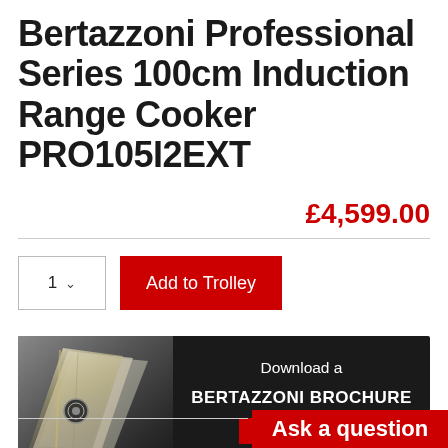Bertazzoni Professional Series 100cm Induction Range Cooker PRO105I2EXT
£4,599.00
[Figure (screenshot): Quantity selector showing '1' with dropdown chevron, and a red 'Add to Trolley' button]
[Figure (infographic): Dark banner with Bertazzoni brochure booklet image on left, text 'Download a BERTAZZONI BROCHURE' on right with red 'CLICK HERE' button]
[Figure (infographic): Red banner with white text 'Ask a question' in bottom right]